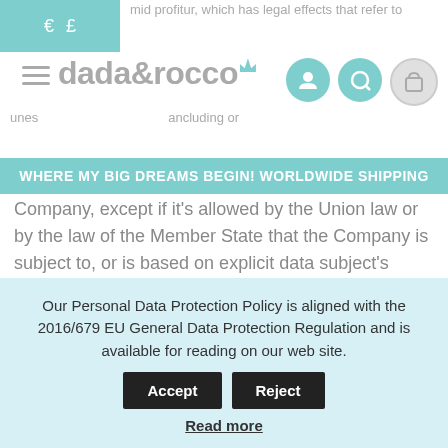dada&rocco — WHERE MY BIG DREAMS BEGIN! WORLDWIDE SHIPPING
Company, except if it's allowed by the Union law or by the law of the Member State that the Company is subject to, or is based on explicit data subject's consent.
Right to withdraw consent
The data subject's consent is one of the legal grounds for data processing that refers to the data subject. The data subject has the right to withdraw the given consent at any
Our Personal Data Protection Policy is aligned with the 2016/679 EU General Data Protection Regulation and is available for reading on our web site. Accept Reject Read more